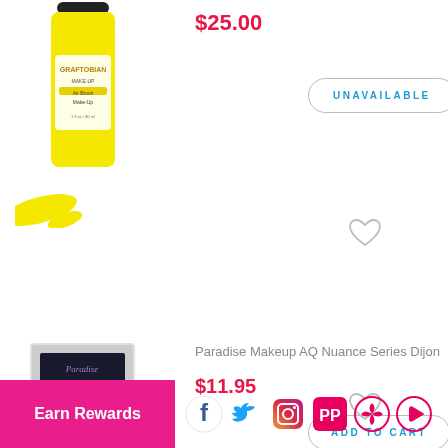$25.00
[Figure (photo): Yellow bottle of Graftobian airbrush make-up with yellow paint splash]
UNAVAILABLE
[Figure (other): Heart/wishlist icon]
Paradise Makeup AQ Nuance Series Dijon
$11.95
[Figure (photo): Paradise Makeup AQ compact in Dijon shade]
ADD TO CART
[Figure (other): Heart/wishlist icon]
Paradise Makeup AQ Yellow
[Figure (photo): Paradise Makeup AQ Yellow compact (partially visible)]
Earn Rewards
[Figure (other): Social media icons row: Facebook, Twitter, Instagram, two brand icons, YouTube]